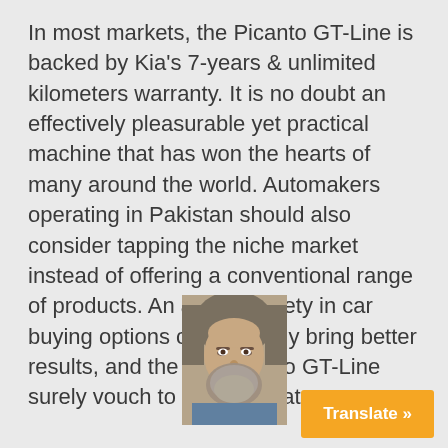In most markets, the Picanto GT-Line is backed by Kia's 7-years & unlimited kilometers warranty. It is no doubt an effectively pleasurable yet practical machine that has won the hearts of many around the world. Automakers operating in Pakistan should also consider tapping the niche market instead of offering a conventional range of products. An added variety in car buying options can certainly bring better results, and the Kia Picanto GT-Line surely vouch to achieve that.
[Figure (photo): Portrait photo of a middle-aged man with grey hair and beard, looking slightly to the side.]
Translate »